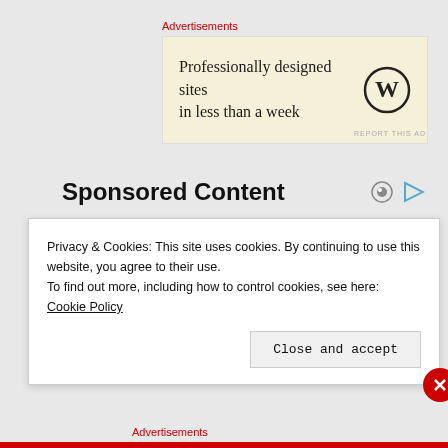Advertisements
[Figure (other): WordPress advertisement banner with text 'Professionally designed sites in less than a week' and WordPress logo on cream/beige background]
REPORT THIS AD
Sponsored Content
Privacy & Cookies: This site uses cookies. By continuing to use this website, you agree to their use.
To find out more, including how to control cookies, see here: Cookie Policy
Close and accept
Advertisements